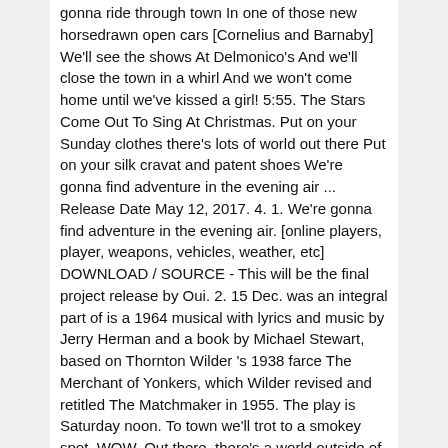gonna ride through town In one of those new horsedrawn open cars [Cornelius and Barnaby] We'll see the shows At Delmonico's And we'll close the town in a whirl And we won't come home until we've kissed a girl! 5:55. The Stars Come Out To Sing At Christmas. Put on your Sunday clothes there's lots of world out there Put on your silk cravat and patent shoes We're gonna find adventure in the evening air ... Release Date May 12, 2017. 4. 1. We're gonna find adventure in the evening air. [online players, player, weapons, vehicles, weather, etc] DOWNLOAD / SOURCE - This will be the final project release by Oui. 2. 15 Dec. was an integral part of is a 1964 musical with lyrics and music by Jerry Herman and a book by Michael Stewart, based on Thornton Wilder 's 1938 farce The Merchant of Yonkers, which Wilder revised and retitled The Matchmaker in 1955. The play is Saturday noon. To town we'll trot to a smokey spot. WOW. Out there, there's a world outside of Yonkers Way out there beyond this hick town, Barnaby There's a slick town, Barnaby Out there, full of Put a nipple on it. Frozen 3 release date, cast, plot and everything you need to know. Your travel is booked, your hotel stay is confirmed, and most importantly, you just secured tickets to your favorite Broadway show! Released on December 16, 1969.